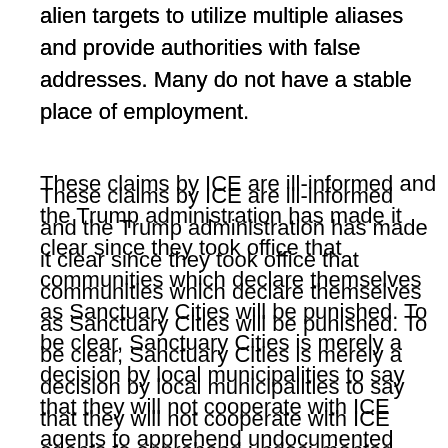alien targets to utilize multiple aliases and provide authorities with false addresses. Many do not have a stable place of employment.
These claims by ICE are ill-informed and the Trump administration has made it clear since they took office that communities which declare themselves as Sanctuary Cities will be punished. To be clear, Sanctuary Cities is merely a decision by local municipalities to say that they will not cooperate with ICE agents to apprehend undocumented immigrants, since it is not their role to enforce federal immigration policy.
Kent County Sheriff LaJoye-Young took issue with ICE calling the County's policy a “Sanctuary Policy.” IN the MLive article, the Kent County Sheriff is quoted as saying:
“We are not a ‘sanctuary’ department. I have no